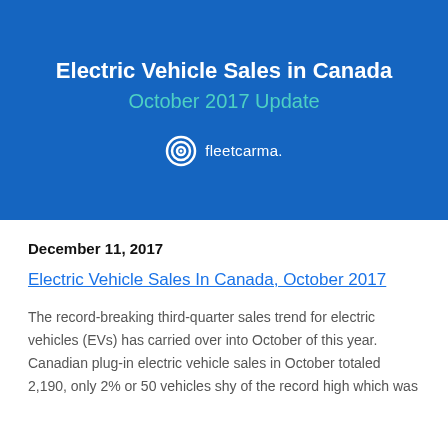Electric Vehicle Sales in Canada
October 2017 Update
[Figure (logo): FleetCarma logo — circular icon with concentric rings and the text 'fleetcarma.']
December 11, 2017
Electric Vehicle Sales In Canada, October 2017
The record-breaking third-quarter sales trend for electric vehicles (EVs) has carried over into October of this year. Canadian plug-in electric vehicle sales in October totaled 2,190, only 2% or 50 vehicles shy of the record high which was